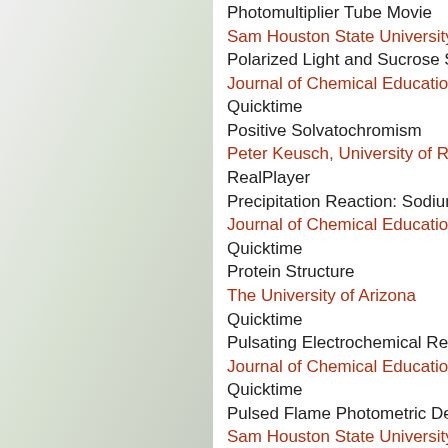Photomultiplier Tube Movie
Sam Houston State University
Polarized Light and Sucrose Soluti…
Journal of Chemical Education
Quicktime
Positive Solvatochromism
Peter Keusch, University of Regens…
RealPlayer
Precipitation Reaction: Sodium Iodi…
Journal of Chemical Education
Quicktime
Protein Structure
The University of Arizona
Quicktime
Pulsating Electrochemical Reaction…
Journal of Chemical Education
Quicktime
Pulsed Flame Photometric Detector…
Sam Houston State University
Quicktime, Gif animation
Reaction of Butylbromide Isomers w…
Peter Keusch, University of Regens…